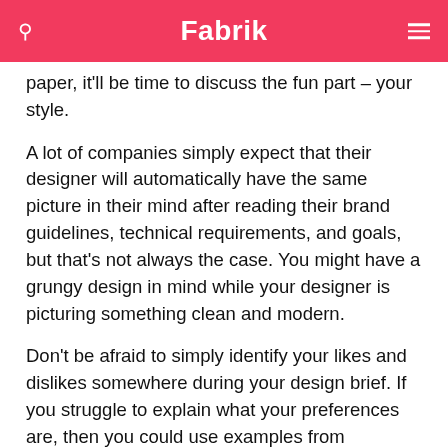Fabrik
paper, it'll be time to discuss the fun part – your style.
A lot of companies simply expect that their designer will automatically have the same picture in their mind after reading their brand guidelines, technical requirements, and goals, but that's not always the case. You might have a grungy design in mind while your designer is picturing something clean and modern.
Don't be afraid to simply identify your likes and dislikes somewhere during your design brief. If you struggle to explain what your preferences are, then you could use examples from competitors to outline what you do, and don't want.
Remember, identifying your style isn't just important for the colours and imagery used in your design brief. It's